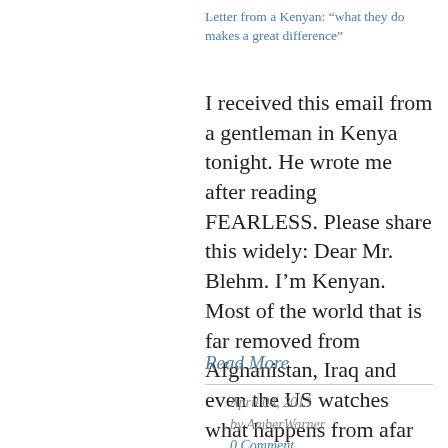Letter from a Kenyan: “what they do makes a great difference”
I received this email from a gentleman in Kenya tonight. He wrote me after reading FEARLESS. Please share this widely: Dear Mr. Blehm. I’m Kenyan. Most of the world that is far removed from Afghanistan, Iraq and even the US watches what happens from afar on CNN or BBC and wonder
Read More
April 04, 2013
by AmberWarner
0 Comment